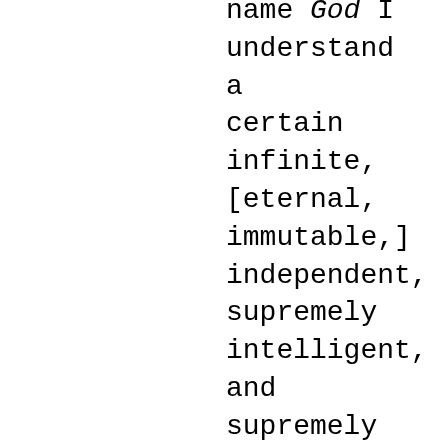name God I understand a certain infinite, [eternal, immutable,] independent, supremely intelligent, and supremely powerful substance by which I myself was created, along